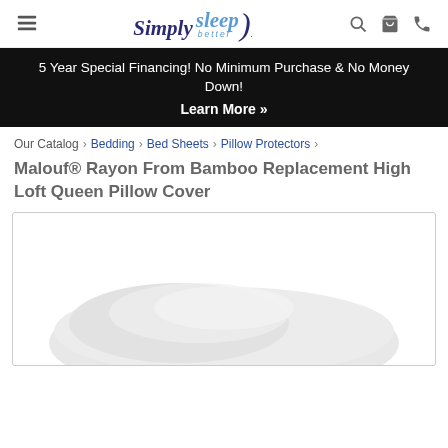Simply sleep better — navigation header with hamburger menu, logo, search, cart, and phone icons
5 Year Special Financing! No Minimum Purchase & No Money Down!
Learn More »
Our Catalog › Bedding › Bed Sheets › Pillow Protectors ›
Malouf® Rayon From Bamboo Replacement High Loft Queen Pillow Cover
[Figure (photo): Product image of a high loft pillow with a bamboo cover, shown with a soft white/light grey pillow visible at the bottom of the frame against a white background.]